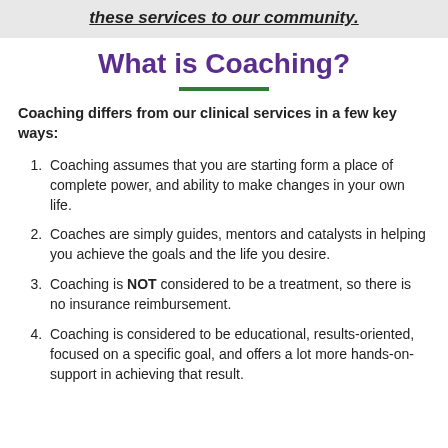these services to our community.
What is Coaching?
Coaching differs from our clinical services in a few key ways:
Coaching assumes that you are starting form a place of complete power, and ability to make changes in your own life.
Coaches are simply guides, mentors and catalysts in helping you achieve the goals and the life you desire.
Coaching is NOT considered to be a treatment, so there is no insurance reimbursement.
Coaching is considered to be educational, results-oriented, focused on a specific goal, and offers a lot more hands-on-support in achieving that result.